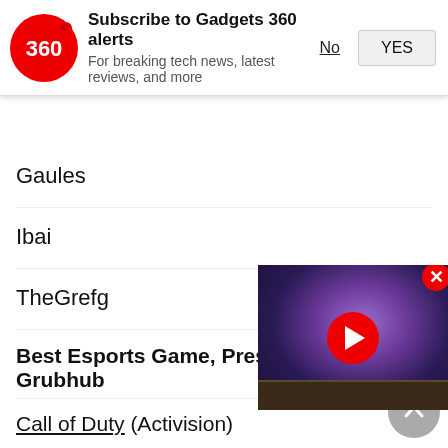[Figure (screenshot): Gadgets 360 subscription notification banner with logo, text, No and YES buttons]
Gaules
Ibai
TheGrefg
Best Esports Game, Presented by Grubhub
Call of Duty (Activision)
CS:GO (Valve)
DOTA2 (Valve)
League of Legends (Riot Games)